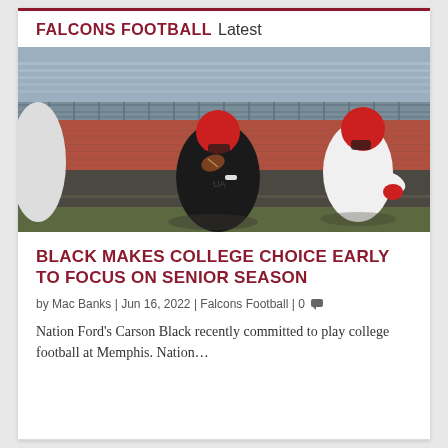FALCONS FOOTBALL Latest
[Figure (photo): Football quarterback in black jersey and red helmet holding a football in throwing position during practice, with another player in white jersey and red helmet in background on a stadium track.]
BLACK MAKES COLLEGE CHOICE EARLY TO FOCUS ON SENIOR SEASON
by Mac Banks | Jun 16, 2022 | Falcons Football | 0
Nation Ford's Carson Black recently committed to play college football at Memphis. Nation…